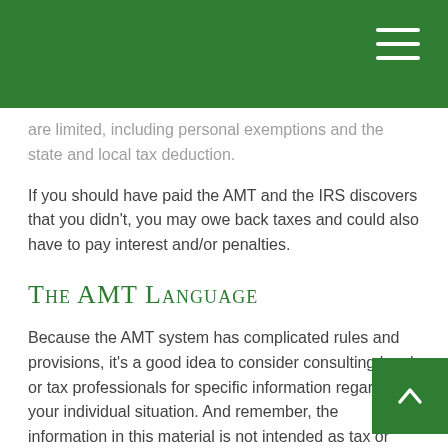are limited, including personal exemptions and the state and local tax deduction.
If you should have paid the AMT and the IRS discovers that you didn't, you may owe back taxes and could also have to pay interest and/or penalties.
The AMT Language
Because the AMT system has complicated rules and provisions, it's a good idea to consider consulting legal or tax professionals for specific information regarding your individual situation. And remember, the information in this material is not intended as tax or legal advice. It may not be used for the purpose of avoiding any federal tax penalties.
If you want to avoid any potential surprises at tax time, it